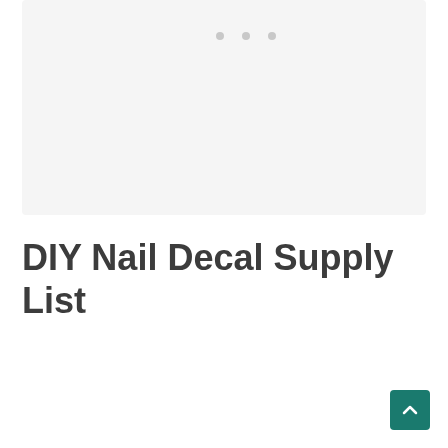[Figure (photo): Light gray placeholder image area at top of page, with three small dots indicating a loading or carousel indicator]
DIY Nail Decal Supply List